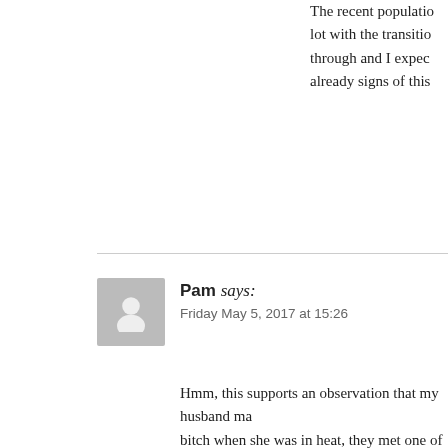The recent population lot with the transition through and I expect already signs of this
Pam says:
Friday May 5, 2017 at 15:26
Hmm, this supports an observation that my husband ma bitch when she was in heat, they met one of our neighb ready and willing, but when my husband intuitively inc obeyed the signal. Both dogs were off leash, and I was told me about it. However, I would not have been prepa happen if the dogs were left alone! Which is what you a correctly? Does your alpha male obey this signal from only from you? And do the normally hostile surroundin female that enters their territory?